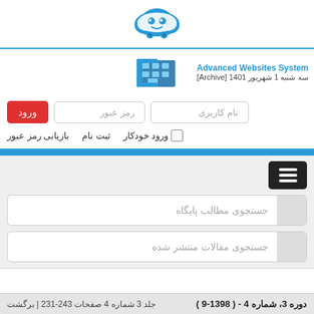[Figure (logo): Blue cloud/character logo at top center]
[Figure (logo): Advanced Websites System logo with building icon, text 'Advanced Websites System' and '[Archive] 1401 سه شنبه 1 شهریور']
ورود
رمز عبور
نام کاربری
ورود خودکار  ثبت نام  بازیابی رمز عبور
جستجوی مطالب پایگاه
جستجوی مقالات منتشر شده
دوره 3، شماره 4 - ( 1398-9 )
جلد 3 شماره 4 صفحات 231-243 | برگشت